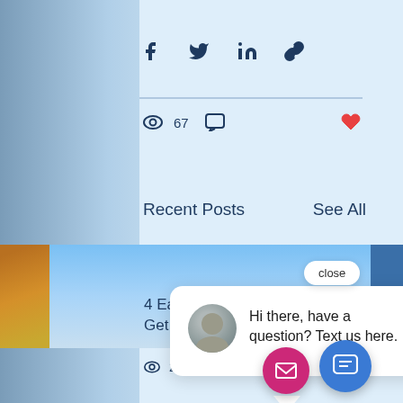[Figure (screenshot): Social media blog post page screenshot showing share icons (Facebook, Twitter, LinkedIn, link), view count of 67, comment icon, heart/like icon, Recent Posts section with See All link, a post card thumbnail for '4 Easy Ways To Get Your RV Rea...', a chat popup with avatar saying 'Hi there, have a question? Text us here.', close button, and two FAB buttons (mail and chat).]
67
Recent Posts
See All
4 Easy Ways To Get Your RV Rea...
Hi there, have a question? Text us here.
close
21